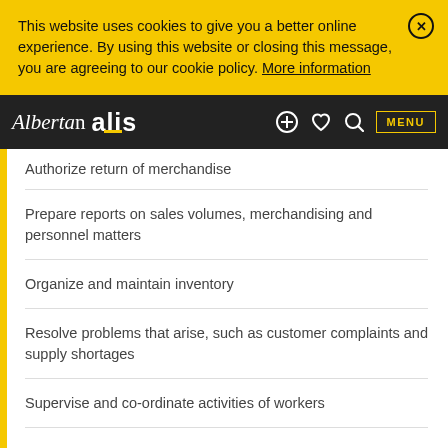This website uses cookies to give you a better online experience. By using this website or closing this message, you are agreeing to our cookie policy. More information
Alberta alis — MENU
Authorize return of merchandise
Prepare reports on sales volumes, merchandising and personnel matters
Organize and maintain inventory
Resolve problems that arise, such as customer complaints and supply shortages
Supervise and co-ordinate activities of workers
Experience
1 year to less than 2 years